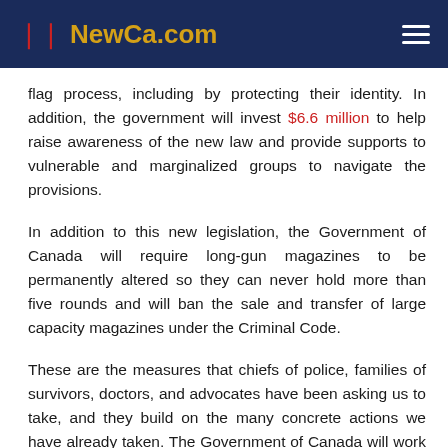NewCa.com
flag process, including by protecting their identity. In addition, the government will invest $6.6 million to help raise awareness of the new law and provide supports to vulnerable and marginalized groups to navigate the provisions.
In addition to this new legislation, the Government of Canada will require long-gun magazines to be permanently altered so they can never hold more than five rounds and will ban the sale and transfer of large capacity magazines under the Criminal Code.
These are the measures that chiefs of police, families of survivors, doctors, and advocates have been asking us to take, and they build on the many concrete actions we have already taken. The Government of Canada will work with